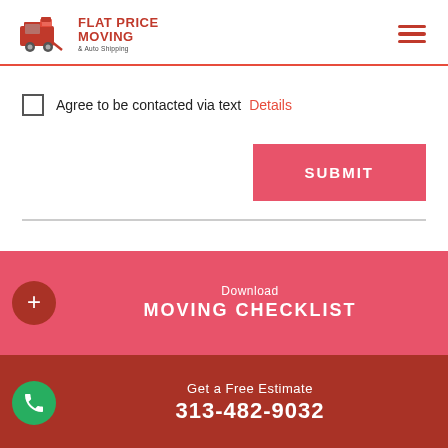[Figure (logo): Flat Price Moving & Auto Shipping logo with red truck icon and hamburger menu icon]
Agree to be contacted via text Details
SUBMIT
Download MOVING CHECKLIST
Get a Free Estimate 313-482-9032